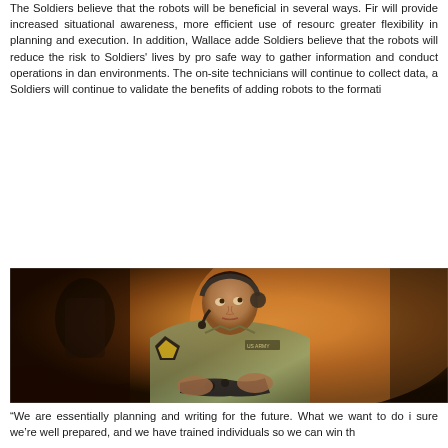The Soldiers believe that the robots will be beneficial in several ways. Fir will provide increased situational awareness, more efficient use of resourc greater flexibility in planning and execution. In addition, Wallace adde Soldiers believe that the robots will reduce the risk to Soldiers' lives by pro safe way to gather information and conduct operations in dan environments. The on-site technicians will continue to collect data, a Soldiers will continue to validate the benefits of adding robots to the format
[Figure (photo): A US Army soldier wearing camouflage uniform with 1st Cavalry Division patch and headset, operating a controller, likely controlling a robot or drone system. The soldier appears to be seated at a control station in a dimly lit environment.]
“We are essentially planning and writing for the future. What we want to do i sure we’re well prepared, and we have trained individuals so we can win th